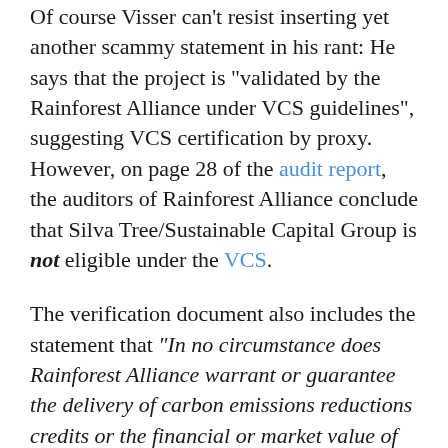Of course Visser can't resist inserting yet another scammy statement in his rant: He says that the project is "validated by the Rainforest Alliance under VCS guidelines", suggesting VCS certification by proxy. However, on page 28 of the audit report, the auditors of Rainforest Alliance conclude that Silva Tree/Sustainable Capital Group is not eligible under the VCS.
The verification document also includes the statement that "In no circumstance does Rainforest Alliance warrant or guarantee the delivery of carbon emissions reductions credits or the financial or market value of any credits validated in connection with this statement". That means, among other things, that there is no basis for the "guaranteed returns"